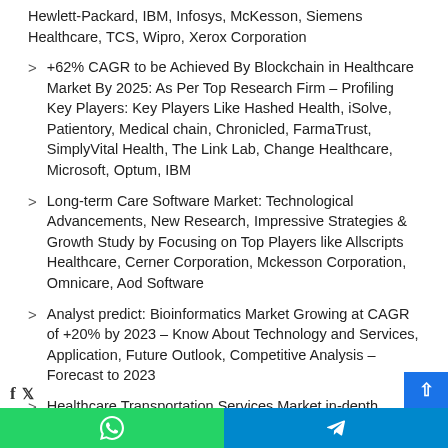Hewlett-Packard, IBM, Infosys, McKesson, Siemens Healthcare, TCS, Wipro, Xerox Corporation
+62% CAGR to be Achieved By Blockchain in Healthcare Market By 2025: As Per Top Research Firm – Profiling Key Players: Key Players Like Hashed Health, iSolve, Patientory, Medical chain, Chronicled, FarmaTrust, SimplyVital Health, The Link Lab, Change Healthcare, Microsoft, Optum, IBM
Long-term Care Software Market: Technological Advancements, New Research, Impressive Strategies & Growth Study by Focusing on Top Players like Allscripts Healthcare, Cerner Corporation, Mckesson Corporation, Omnicare, Aod Software
Analyst predict: Bioinformatics Market Growing at CAGR of +20% by 2023 – Know About Technology and Services, Application, Future Outlook, Competitive Analysis – Forecast to 2023
Healthcare Transportation Services Market in-depth approaches behind the Success Of Top Players like LogistiCare, ATS Healthcare, Deckhealth Care, BHL Healthcare, ARAMARK